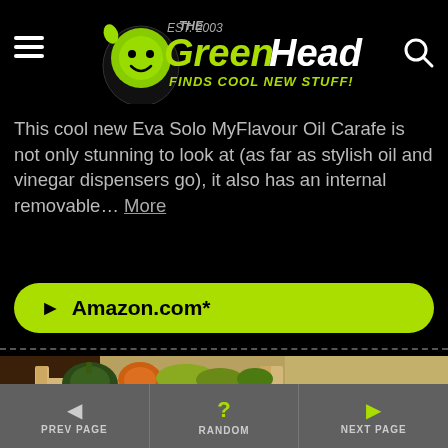The GreenHead - Finds Cool New Stuff!
This cool new Eva Solo MyFlavour Oil Carafe is not only stunning to look at (as far as stylish oil and vinegar dispensers go), it also has an internal removable… More
► Amazon.com*
[Figure (photo): Wooden slatted shelving rack/crate holding various squashes and round vegetables (onions/turnips) stored outdoors near a barn]
◄ PREV PAGE   ? RANDOM   ► NEXT PAGE